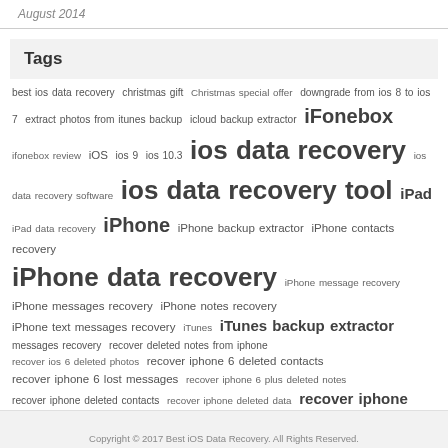August 2014
Tags
best ios data recovery christmas gift Christmas special offer downgrade from ios 8 to ios 7 extract photos from itunes backup icloud backup extractor iFonebox ifonebox review iOS ios 9 ios 10.3 ios data recovery ios data recovery software ios data recovery tool iPad iPad data recovery iPhone iPhone backup extractor iPhone contacts recovery iPhone data recovery iPhone message recovery iPhone messages recovery iPhone notes recovery iPhone text messages recovery iTunes iTunes backup extractor messages recovery recover deleted notes from iphone recover ios 6 deleted photos recover iphone 6 deleted contacts recover iphone 6 lost messages recover iphone 6 plus deleted notes recover iphone deleted contacts recover iphone deleted data recover iphone deleted photos recover iphone lost contacts recover iphone lost notes from icloud retrieve iphone deleted text messages retrieve iphone lost data transfer iphone 6 photos to computer transfer iphone contacts to mac transfer iphone voice memos to computer transfer iphone voice memos to pc transfer itunes backup contacts to iphone transfer messages from iphone to pc
Copyright © 2017 Best iOS Data Recovery. All Rights Reserved.